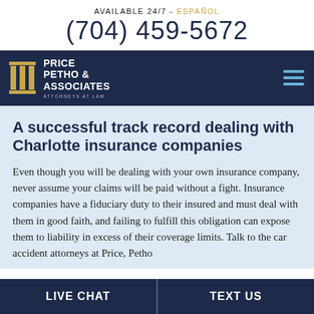AVAILABLE 24/7 - ESPAÑOL
(704) 459-5672
[Figure (logo): Price Petho & Associates Attorneys at Law logo with gold column icon on dark navy navigation bar]
A successful track record dealing with Charlotte insurance companies
Even though you will be dealing with your own insurance company, never assume your claims will be paid without a fight. Insurance companies have a fiduciary duty to their insured and must deal with them in good faith, and failing to fulfill this obligation can expose them to liability in excess of their coverage limits. Talk to the car accident attorneys at Price, Petho
LIVE CHAT | TEXT US